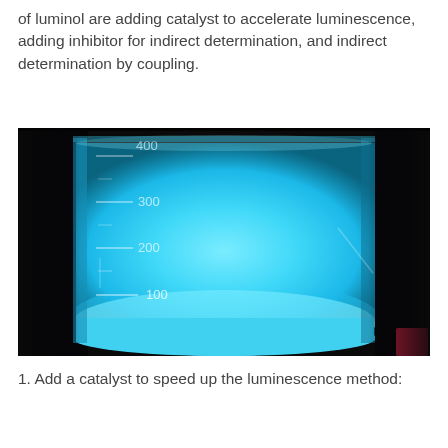of luminol are adding catalyst to accelerate luminescence, adding inhibitor for indirect determination, and indirect determination by coupling.
[Figure (photo): A photograph of a beaker glowing bright blue (chemiluminescence) against a dark/black background. The beaker has visible graduated markings at 100, 200, 300, and 400 mL levels. The entire liquid is emitting a vivid cyan-blue glow. There is a small red element visible in the lower right corner.]
1. Add a catalyst to speed up the luminescence method: